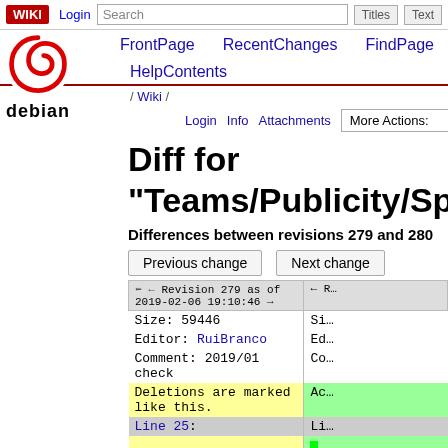WIKI | Login | Search | Titles | Text | FrontPage | RecentChanges | FindPage
[Figure (logo): Debian swirl logo with 'debian' text below]
HelpContents
/ Wiki /
Login   Info   Attachments   More Actions:
Diff for "Teams/Publicity/SpamClean"
Differences between revisions 279 and 280
Previous change   Next change
| Revision 279 as of 2019-02-06 19:10:46 → | ← |
| --- | --- |
| Size: 59446 | Si… |
| Editor: RuiBranco | Ed… |
| Comment: 2019/01 check | Co… |
| Deletions are marked like this. | Ac… |
| Line 25: | Li… |